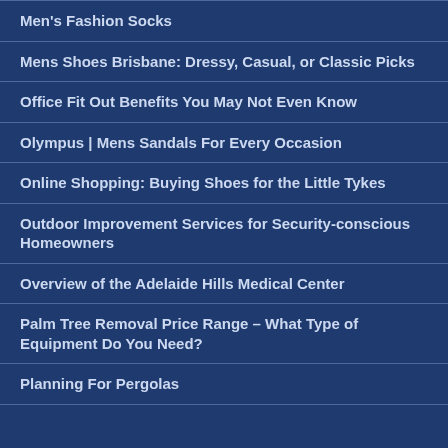Men's Fashion Socks
Mens Shoes Brisbane: Dressy, Casual, or Classic Picks
Office Fit Out Benefits You May Not Even Know
Olympus | Mens Sandals For Every Occasion
Online Shopping: Buying Shoes for the Little Tykes
Outdoor Improvement Services for Security-conscious Homeowners
Overview of the Adelaide Hills Medical Center
Palm Tree Removal Price Range – What Type of Equipment Do You Need?
Planning For Pergolas